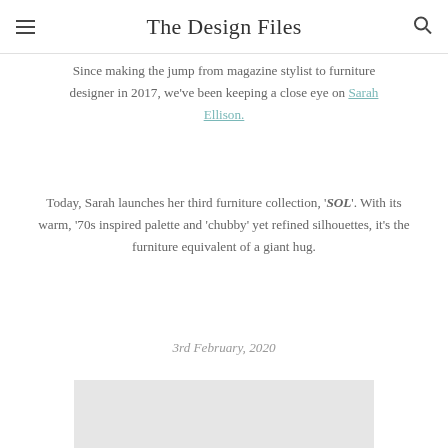The Design Files
Since making the jump from magazine stylist to furniture designer in 2017, we've been keeping a close eye on Sarah Ellison.
Today, Sarah launches her third furniture collection, 'SOL'. With its warm, '70s inspired palette and 'chubby' yet refined silhouettes, it's the furniture equivalent of a giant hug.
3rd February, 2020
[Figure (photo): Photo placeholder at the bottom of the page, light grey background]